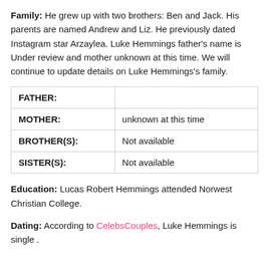Family: He grew up with two brothers: Ben and Jack. His parents are named Andrew and Liz. He previously dated Instagram star Arzaylea. Luke Hemmings father's name is Under review and mother unknown at this time. We will continue to update details on Luke Hemmings's family.
| FATHER: |  |
| MOTHER: | unknown at this time |
| BROTHER(S): | Not available |
| SISTER(S): | Not available |
Education: Lucas Robert Hemmings attended Norwest Christian College.
Dating: According to CelebsCouples, Luke Hemmings is single .